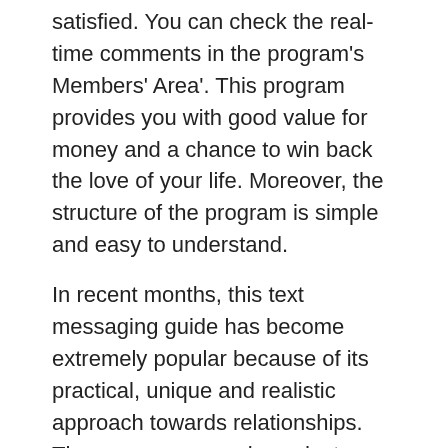satisfied. You can check the real-time comments in the program's Members' Area'. This program provides you with good value for money and a chance to win back the love of your life. Moreover, the structure of the program is simple and easy to understand.
In recent months, this text messaging guide has become extremely popular because of its practical, unique and realistic approach towards relationships. There are many such products available in the market. However, they just talk about text messages which are too basic and ineffective. On the other hand, the texts and strategies explained in this system have been tested and tried in real life environment.